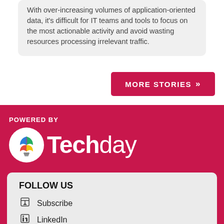With ever-increasing volumes of application-oriented data, it's difficult for IT teams and tools to focus on the most actionable activity and avoid wasting resources processing irrelevant traffic.
MORE STORIES »
POWERED BY
[Figure (logo): Techday logo: colorful lightbulb icon in a white circle with the word Techday in white, bold T-e-c-h and regular day]
FOLLOW US
Subscribe
LinkedIn